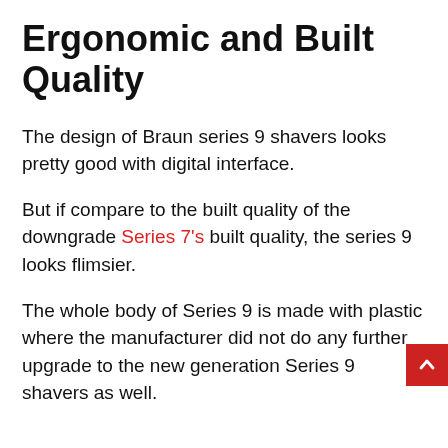Ergonomic and Built Quality
The design of Braun series 9 shavers looks pretty good with digital interface.
But if compare to the built quality of the downgrade Series 7's built quality, the series 9 looks flimsier.
The whole body of Series 9 is made with plastic where the manufacturer did not do any further upgrade to the new generation Series 9 shavers as well.